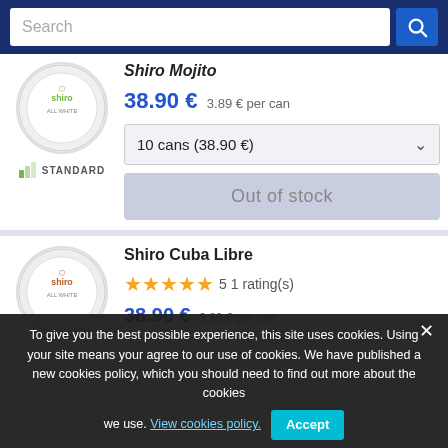Search
Shiro Mojito
38.90 € 3.89 € per can
10 cans (38.90 €)
Out of stock
STANDARD
Shiro Cuba Libre
5  1 rating(s)
38.90 € 3.89 € per can
To give you the best possible experience, this site uses cookies. Using your site means your agree to our use of cookies. We have published a new cookies policy, which you should need to find out more about the cookies we use. View cookies policy.
Accept